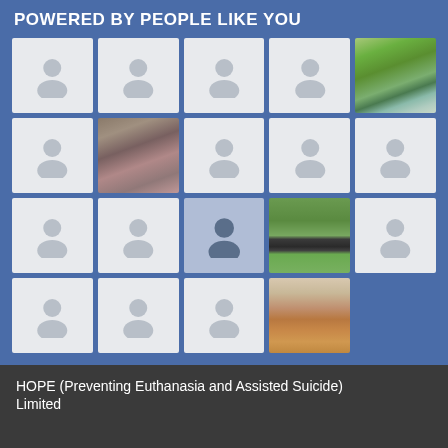POWERED BY PEOPLE LIKE YOU
[Figure (infographic): Grid of 19 Facebook-style profile picture thumbnails, mostly showing default grey avatar silhouette placeholders, with a few showing real photos: a waterfall/nature scene (row1 col5), a family photo with adult and child (row2 col2), a dark blue avatar variant (row3 col3), a person standing in a park (row3 col4), and a person with a guitar (row4 col4). Layout is 5 columns x 4 rows.]
HOPE (Preventing Euthanasia and Assisted Suicide) Limited